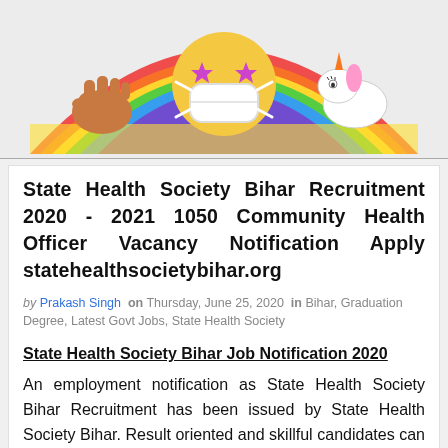[Figure (illustration): Colorful banner illustration with emoji characters including a masked face emoji, hands, unicorn, rainbow, on a light background]
State Health Society Bihar Recruitment 2020 - 2021 1050 Community Health Officer Vacancy Notification Apply statehealthsocietybihar.org
by Prakash Singh on Thursday, June 25, 2020 in Bihar, Graduation Degree, Latest Govt Jobs, State Health Society
State Health Society Bihar Job Notification 2020
An employment notification as State Health Society Bihar Recruitment has been issued by State Health Society Bihar. Result oriented and skillful candidates can fill up their application form